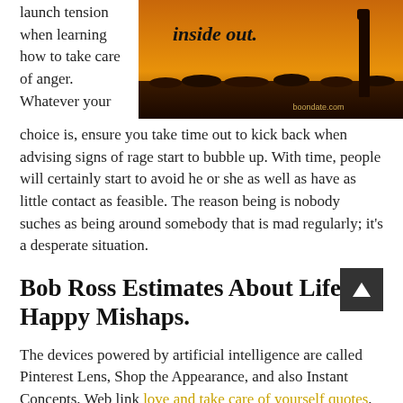launch tension when learning how to take care of anger. Whatever your
[Figure (photo): A silhouette of a person standing in a golden/orange sunset field with text 'inside out.' and watermark 'boondate.com']
choice is, ensure you take time out to kick back when advising signs of rage start to bubble up. With time, people will certainly start to avoid he or she as well as have as little contact as feasible. The reason being is nobody suches as being around somebody that is mad regularly; it's a desperate situation.
Bob Ross Estimates About Lifes Happy Mishaps.
The devices powered by artificial intelligence are called Pinterest Lens, Shop the Appearance, and also Instant Concepts. Web link love and take care of yourself quotes. In